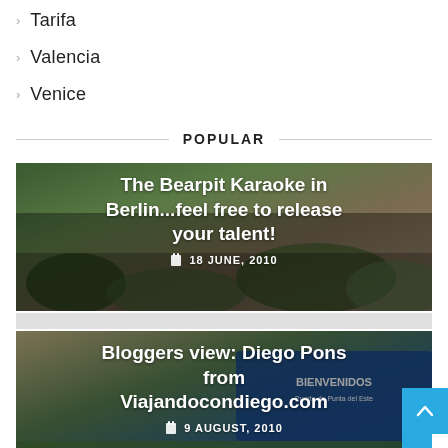Tarifa
Valencia
Venice
POPULAR
[Figure (photo): Crowd at Bearpit Karaoke in Berlin, outdoor amphitheater with many spectators]
The Bearpit Karaoke in Berlin...feel free to release your talent! — 18 JUNE, 2010
[Figure (photo): Blogger at a sign reading BIENVENIDOS, Puerto de Punta del Este]
Bloggers view: Diego Pons from Viajandocondiego.com — 9 AUGUST, 2010